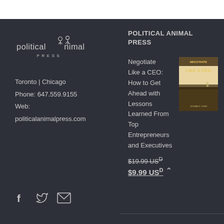[Figure (logo): Political Animal Press logo with stylized animal figures above text]
Toronto | Chicago
Phone: 647.559.9155
Web:
politicalanimalpress.com
[Figure (illustration): Social media icons: Facebook, Twitter, Email]
POLITICAL ANIMAL PRESS
[Figure (photo): Book cover for Negotiate Like a CEO by Jotham S. Stein]
Negotiate Like a CEO: How to Get Ahead with Lessons Learned From Top Entrepreneurs and Executives
$19.99 USD
$9.99 USD